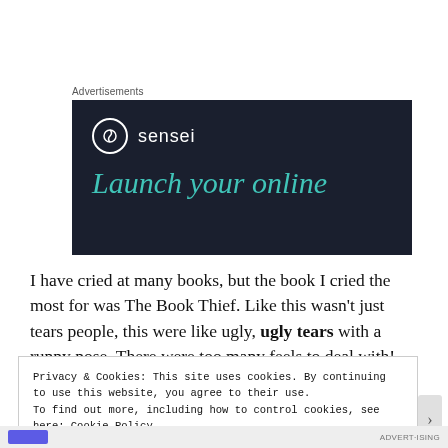Advertisements
[Figure (illustration): Dark navy advertisement banner for 'sensei' with circular logo icon and teal italic text reading 'Launch your online']
I have cried at many books, but the book I cried the most for was The Book Thief. Like this wasn't just tears people, this were like ugly, ugly tears with a runny nose. There were too many feels to deal with!
Privacy & Cookies: This site uses cookies. By continuing to use this website, you agree to their use.
To find out more, including how to control cookies, see here: Cookie Policy

Close and accept